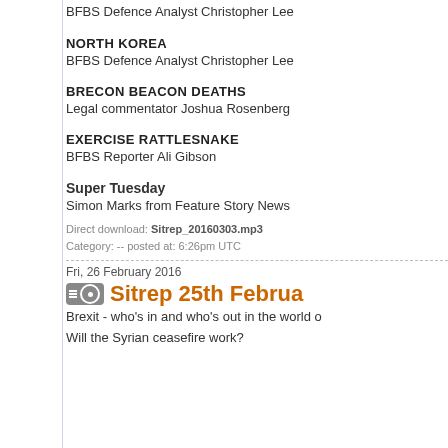BFBS Defence Analyst Christopher Lee
NORTH KOREA
BFBS Defence Analyst Christopher Lee
BRECON BEACON DEATHS
Legal commentator Joshua Rosenberg
EXERCISE RATTLESNAKE
BFBS Reporter Ali Gibson
Super Tuesday
Simon Marks from Feature Story News
Direct download: Sitrep_20160303.mp3
Category: -- posted at: 6:26pm UTC
Fri, 26 February 2016
Sitrep 25th Februa…
Brexit - who's in and who's out in the world o…
Will the Syrian ceasefire work?